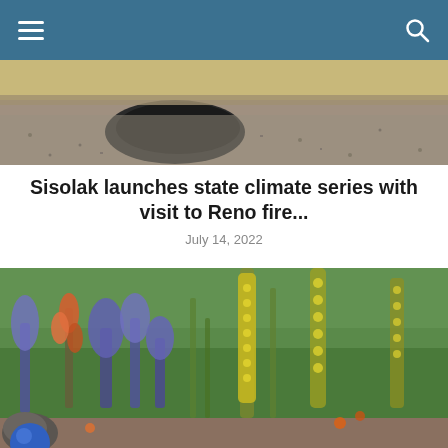Navigation bar with hamburger menu and search icon
[Figure (photo): Gravel or rocky ground surface with a dark object visible, appearing to be a landscape or fire scene photo cropped at top]
Sisolak launches state climate series with visit to Reno fire...
July 14, 2022
[Figure (photo): Colorful garden with purple, orange, and yellow wildflowers and tall yellow spike plants against a green background]